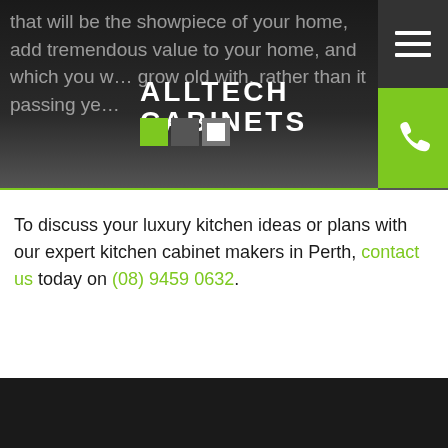[Figure (logo): Alltech Cabinets logo with green, grey, and white squares and white text on dark background]
that will be the showpiece of your home, add tremendous value to your home, and which you will grow old with, rather than it passing ye...
To discuss your luxury kitchen ideas or plans with our expert kitchen cabinet makers in Perth, contact us today on (08) 9459 0632.
[Figure (logo): Alltech Cabinets footer logo in white text on dark background]